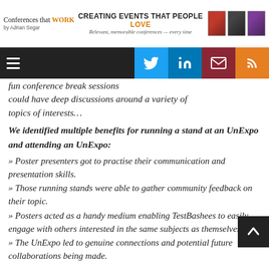Conferences that WORK CREATING EVENTS THAT PEOPLE LOVE by Adrian Segar — Relevant, memorable conferences — every time
fun conference break sessions could have deep discussions around a variety of topics of interests…
We identified multiple benefits for running a stand at an UnExpo and attending an UnExpo:
» Poster presenters got to practise their communication and presentation skills.
» Those running stands were able to gather community feedback on their topic.
» Posters acted as a handy medium enabling TestBashees to easily engage with others interested in the same subjects as themselves.
» The UnExpo led to genuine connections and potential future collaborations being made.
…At future UnExpos, we will run a more streamlined format with a higher number of